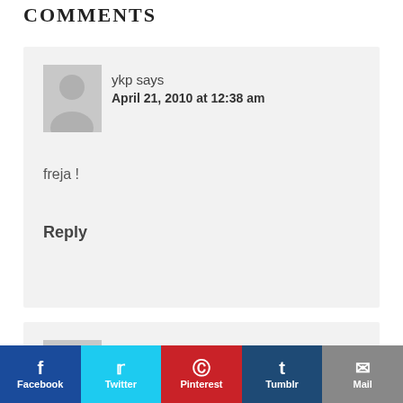COMMENTS
ykp says
April 21, 2010 at 12:38 am
freja !
Reply
ykp says
[Figure (infographic): Social sharing bar with Facebook, Twitter, Pinterest, Tumblr, and Mail buttons]